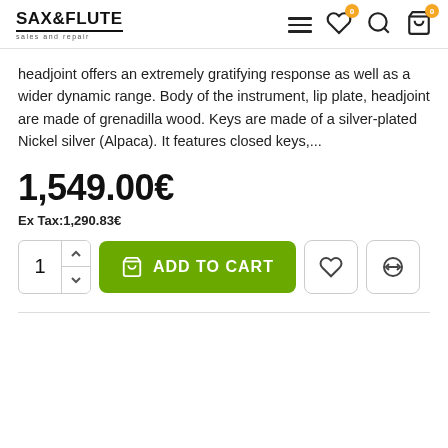SAX & FLUTE sales and repair
headjoint offers an extremely gratifying response as well as a wider dynamic range. Body of the instrument, lip plate, headjoint are made of grenadilla wood. Keys are made of a silver-plated Nickel silver (Alpaca). It features closed keys,...
1,549.00€
Ex Tax:1,290.83€